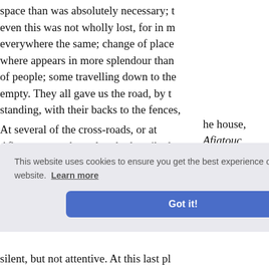space than was absolutely necessary; then even this was not wholly lost, for in m everywhere the same; change of place a where appears in more splendour than of people; some travelling down to the empty. They all gave us the road, by t standing, with their backs to the fences,
At several of the cross-roads, or at Afiatoucas, such as already described round, instead of a stone wall. At lengt than common; near to which was a larg this house we were desired to stop, whi
he house, Afiatouc ence, till said. At t iled him; n. Both
silent, but not attentive. At this last pl